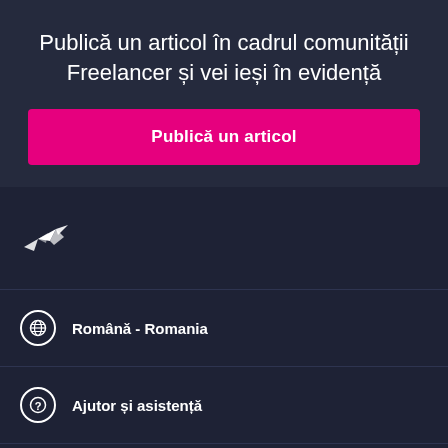Publică un articol în cadrul comunității Freelancer și vei ieși în evidență
Publică un articol
[Figure (logo): Freelancer hummingbird logo in white]
Română - Romania
Ajutor și asistență
Freelancer